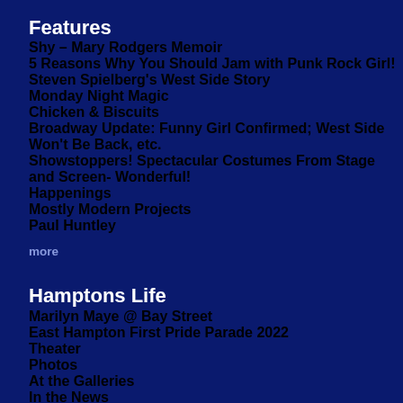Features
Shy – Mary Rodgers Memoir
5 Reasons Why You Should Jam with Punk Rock Girl!
Steven Spielberg's West Side Story
Monday Night Magic
Chicken & Biscuits
Broadway Update: Funny Girl Confirmed; West Side Won't Be Back, etc.
Showstoppers! Spectacular Costumes From Stage and Screen- Wonderful!
Happenings
Mostly Modern Projects
Paul Huntley
more
Hamptons Life
Marilyn Maye @ Bay Street
East Hampton First Pride Parade 2022
Theater
Photos
At the Galleries
In the News
Music
Places to Dine